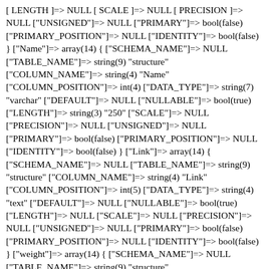[ LENGTH ]=> NULL [ SCALE ]=> NULL [ PRECISION ]=> NULL ["UNSIGNED"]=> NULL ["PRIMARY"]=> bool(false) ["PRIMARY_POSITION"]=> NULL ["IDENTITY"]=> bool(false) } ["Name"]=> array(14) { ["SCHEMA_NAME"]=> NULL ["TABLE_NAME"]=> string(9) "structure" ["COLUMN_NAME"]=> string(4) "Name" ["COLUMN_POSITION"]=> int(4) ["DATA_TYPE"]=> string(7) "varchar" ["DEFAULT"]=> NULL ["NULLABLE"]=> bool(true) ["LENGTH"]=> string(3) "250" ["SCALE"]=> NULL ["PRECISION"]=> NULL ["UNSIGNED"]=> NULL ["PRIMARY"]=> bool(false) ["PRIMARY_POSITION"]=> NULL ["IDENTITY"]=> bool(false) } ["Link"]=> array(14) { ["SCHEMA_NAME"]=> NULL ["TABLE_NAME"]=> string(9) "structure" ["COLUMN_NAME"]=> string(4) "Link" ["COLUMN_POSITION"]=> int(5) ["DATA_TYPE"]=> string(4) "text" ["DEFAULT"]=> NULL ["NULLABLE"]=> bool(true) ["LENGTH"]=> NULL ["SCALE"]=> NULL ["PRECISION"]=> NULL ["UNSIGNED"]=> NULL ["PRIMARY"]=> bool(false) ["PRIMARY_POSITION"]=> NULL ["IDENTITY"]=> bool(false) } ["weight"]=> array(14) { ["SCHEMA_NAME"]=> NULL ["TABLE_NAME"]=> string(9) "structure" ["COLUMN_NAME"]=> string(6) "weight" ["COLUMN_POSITION"]=> int(6) ["DATA_TYPE"]=> string(3) "int" ["DEFAULT"]=> NULL ["NULLABLE"]=> bool(true) ["LENGTH"]=> NULL ["SCALE"]=> NULL ["PRECISION"]=> NULL ["UNSIGNED"]=> NULL ["PRIMARY"]=> bool(false)